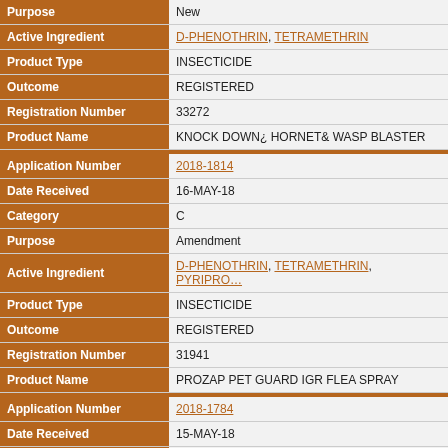| Field | Value |
| --- | --- |
| Purpose | New |
| Active Ingredient | D-PHENOTHRIN, TETRAMETHRIN |
| Product Type | INSECTICIDE |
| Outcome | REGISTERED |
| Registration Number | 33272 |
| Product Name | KNOCK DOWN¿ HORNET& WASP BLASTER |
| Application Number | 2018-1814 |
| Date Received | 16-MAY-18 |
| Category | C |
| Purpose | Amendment |
| Active Ingredient | D-PHENOTHRIN, TETRAMETHRIN, PYRIPRO... |
| Product Type | INSECTICIDE |
| Outcome | REGISTERED |
| Registration Number | 31941 |
| Product Name | PROZAP PET GUARD IGR FLEA SPRAY |
| Application Number | 2018-1784 |
| Date Received | 15-MAY-18 |
| Category | C |
| Purpose | Amendment |
| Active Ingredient | D-PHENOTHRIN, TETRAMETHRIN |
| Product Type | INSECTICIDE, ACARICIDE |
| Outcome | REGISTERED |